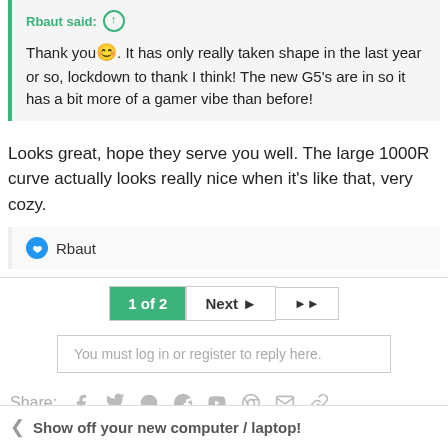Rbaut said: ↑
Thank you 😊. It has only really taken shape in the last year or so, lockdown to thank I think! The new G5's are in so it has a bit more of a gamer vibe than before!
Looks great, hope they serve you well. The large 1000R curve actually looks really nice when it's like that, very cozy.
👍 Rbaut
1 of 2  Next ▶  ▶▶
You must log in or register to reply here.
Share: (icons)
< Show off your new computer / laptop!